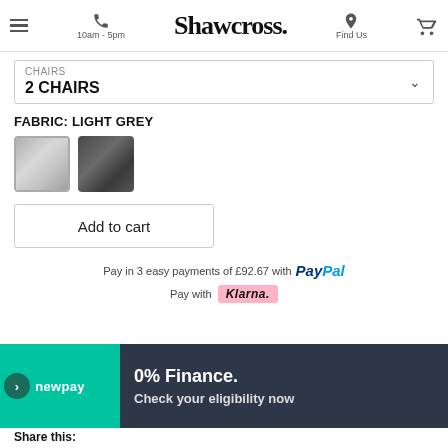Shawcross. | 10am - 5pm | Find Us
CHAIRS
2 CHAIRS
FABRIC: LIGHT GREY
[Figure (other): Two fabric colour swatches: light grey (selected, with border) and dark grey]
Add to cart
Pay in 3 easy payments of £92.67 with PayPal
Pay with Klarna.
0% Finance.
Check your eligibility now
Share this: